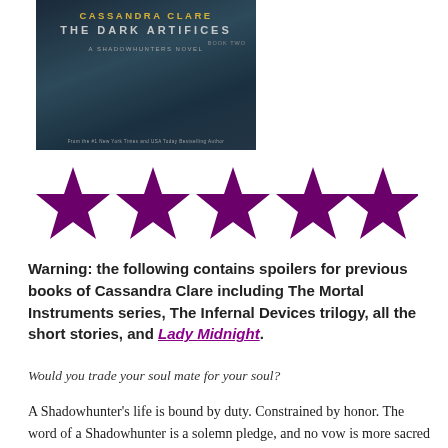[Figure (photo): Book cover of 'Lord of Shadows' (The Dark Artifices, Book Two) by Cassandra Clare — A Shadowhunters Novel. Dark teal/navy background with author name in gold, title in silver/grey letters.]
[Figure (other): Five purple star rating icons in a row]
Warning: the following contains spoilers for previous books of Cassandra Clare including The Mortal Instruments series, The Infernal Devices trilogy, all the short stories, and Lady Midnight.
Would you trade your soul mate for your soul?
A Shadowhunter's life is bound by duty. Constrained by honor. The word of a Shadowhunter is a solemn pledge, and no vow is more sacred than the vow that binds parabatai,